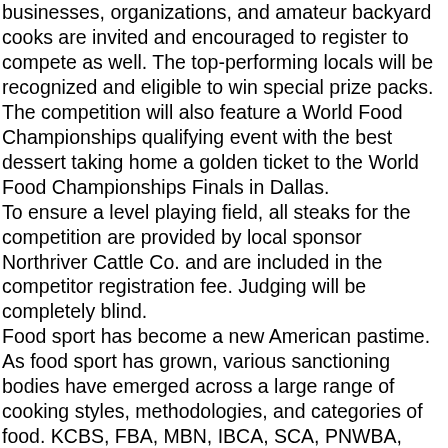businesses, organizations, and amateur backyard cooks are invited and encouraged to register to compete as well. The top-performing locals will be recognized and eligible to win special prize packs. The competition will also feature a World Food Championships qualifying event with the best dessert taking home a golden ticket to the World Food Championships Finals in Dallas.
To ensure a level playing field, all steaks for the competition are provided by local sponsor Northriver Cattle Co. and are included in the competitor registration fee. Judging will be completely blind.
Food sport has become a new American pastime.  As food sport has grown, various sanctioning bodies have emerged across a large range of cooking styles, methodologies, and categories of food. KCBS, FBA, MBN, IBCA, SCA, PNWBA, WFC are just a few sanctioning bodies that offer both seasoned chefs and everyday cooks a chance to take home a win. With cash prizes up for grabs, many have turned to food sport as a way to monetize a hobby. Each sanctioned competition offers up